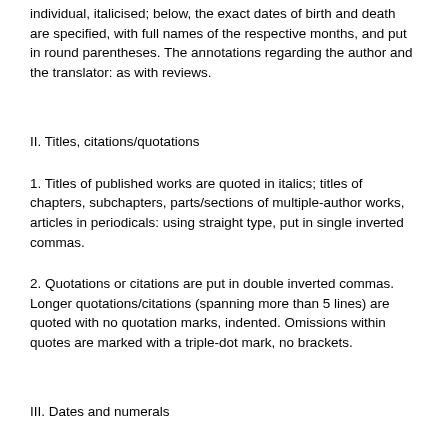individual, italicised; below, the exact dates of birth and death are specified, with full names of the respective months, and put in round parentheses. The annotations regarding the author and the translator: as with reviews.
II. Titles, citations/quotations
1. Titles of published works are quoted in italics; titles of chapters, subchapters, parts/sections of multiple-author works, articles in periodicals: using straight type, put in single inverted commas.
2. Quotations or citations are put in double inverted commas. Longer quotations/citations (spanning more than 5 lines) are quoted with no quotation marks, indented. Omissions within quotes are marked with a triple-dot mark, no brackets.
III. Dates and numerals
1. Dates in full: if within the text – January 1777; for footnotes – Jan. 1777
2. Periods: from... to (till)..., or: between 1777 and 1799; or, –99
3. Orders of magnitude: separated with commas if put numerically; e.g.: